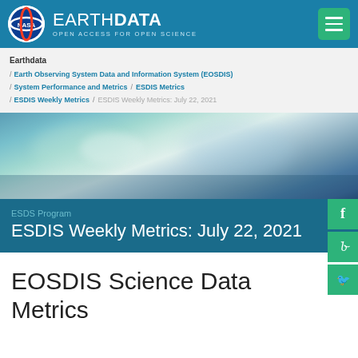EARTHDATA — OPEN ACCESS FOR OPEN SCIENCE
Earthdata / Earth Observing System Data and Information System (EOSDIS) / System Performance and Metrics / ESDIS Metrics / ESDIS Weekly Metrics / ESDIS Weekly Metrics: July 22, 2021
[Figure (photo): Satellite image of Earth surface showing coastal or river delta features in teal and blue tones]
ESDS Program
ESDIS Weekly Metrics: July 22, 2021
EOSDIS Science Data Metrics